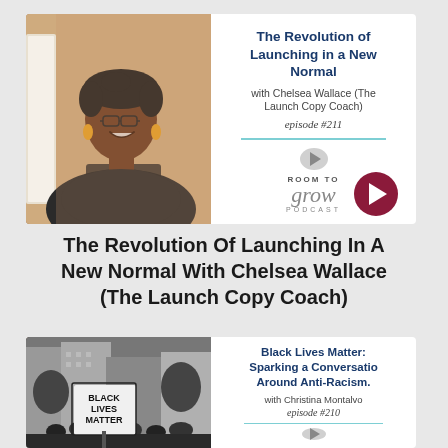[Figure (photo): Top podcast card with photo of smiling woman wearing Inner Circle t-shirt, next to podcast info panel for Room To Grow Podcast]
The Revolution Of Launching In A New Normal With Chelsea Wallace (The Launch Copy Coach)
[Figure (photo): Bottom podcast card with black and white photo of BLM protest with Black Lives Matter sign, next to podcast info panel]